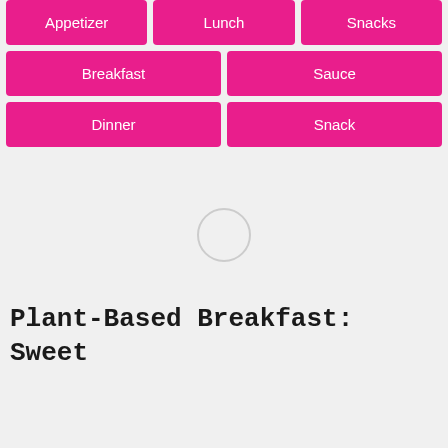Appetizer
Lunch
Snacks
Breakfast
Sauce
Dinner
Snack
[Figure (other): Loading spinner circle indicator]
Plant-Based Breakfast: Sweet